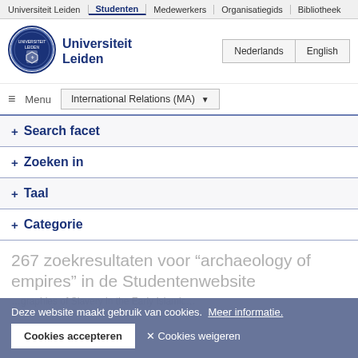Universiteit Leiden | Studenten | Medewerkers | Organisatiegids | Bibliotheek
[Figure (logo): Universiteit Leiden circular seal/crest logo in blue]
Universiteit Leiden
Nederlands | English
≡ Menu  International Relations (MA) ▾
+ Search facet
+ Zoeken in
+ Taal
+ Categorie
267 zoekresultaten voor "archaeology of empires" in de Studentenwebsite
Deze website maakt gebruik van cookies.  Meer informatie.
Cookies accepteren  ✕ Cookies weigeren